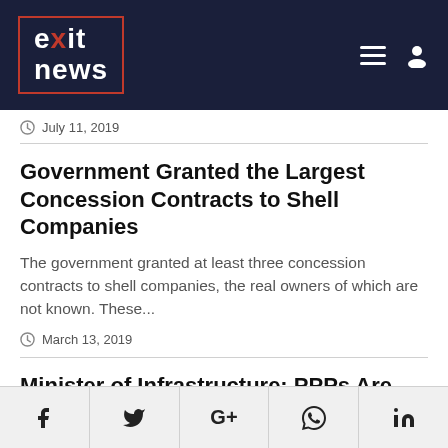exit news
July 11, 2019
Government Granted the Largest Concession Contracts to Shell Companies
The government granted at least three concession contracts to shell companies, the real owners of which are not known. These...
March 13, 2019
Minister of Infrastructure: PPPs Are Not Fiscally Risky
The Albanian government has chosen an
f  Twitter  G+  WhatsApp  in